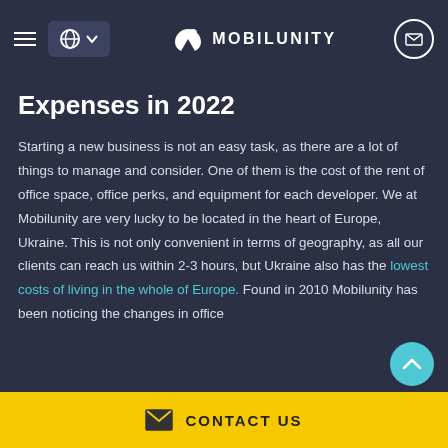MOBILUNITY
Expenses in 2022
Starting a new business is not an easy task, as there are a lot of things to manage and consider. One of them is the cost of the rent of office space, office perks, and equipment for each developer. We at Mobilunity are very lucky to be located in the heart of Europe, Ukraine. This is not only convenient in terms of geography, as all our clients can reach us within 2-3 hours, but Ukraine also has the lowest costs of living in the whole of Europe. Found in 2010 Mobilunity has been noticing the changes in office
CONTACT US